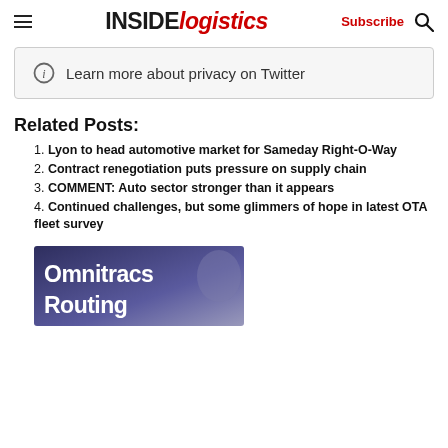INSIDE logistics — Subscribe
[Figure (screenshot): Twitter/X privacy notice box with info icon and text 'Learn more about privacy on Twitter']
Related Posts:
1. Lyon to head automotive market for Sameday Right-O-Way
2. Contract renegotiation puts pressure on supply chain
3. COMMENT: Auto sector stronger than it appears
4. Continued challenges, but some glimmers of hope in latest OTA fleet survey
[Figure (photo): Omnitracs Routing promotional image with text 'Omnitracs Routing' on dark blue/purple background]